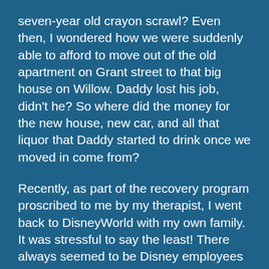seven-year old crayon scrawl? Even then, I wondered how we were suddenly able to afford to move out of the old apartment on Grant street to that big house on Willow. Daddy lost his job, didn't he? So where did the money for the new house, new car, and all that liquor that Daddy started to drink once we moved in come from?
Recently, as part of the recovery program proscribed to me by my therapist, I went back to DisneyWorld with my own family. It was stressful to say the least! There always seemed to be Disney employees hovering around my kids. I could have sworn I saw Pluto size up my son Jeffery's head with his big, raggedy paw, his dead costumed eyes staring at me the entire time.
I corralled my family to Space Mountain, staying ever vigilant because you never know who in line could be a Disney plant. suddenly, by daughter Susan shouted, "Look! That man looks like Grampa in those old pictures!" I spun